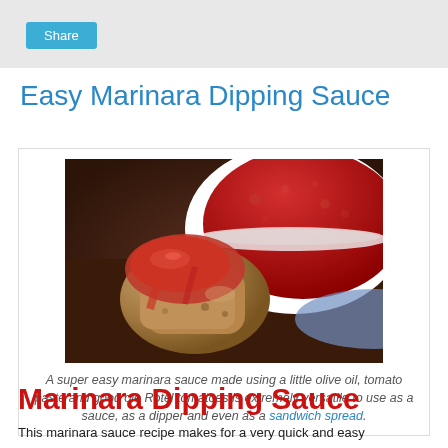Share
Easy Marinara Dipping Sauce
[Figure (photo): Close-up photo of a piece of fried food dipped in red marinara sauce, with a white bowl of marinara sauce in the background]
A super easy marinara sauce made using a little olive oil, tomato paste and good ole Rotel tomatoes is extremely versatile to use as a sauce, as a dipper and even as a sandwich spread.
Marinara Dipping Sauce
This marinara sauce recipe makes for a very quick and easy